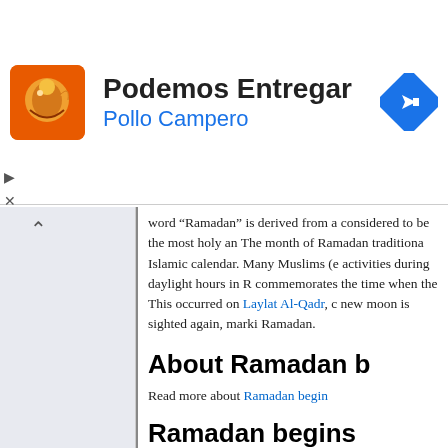[Figure (infographic): Advertisement banner for Pollo Campero delivery service. Shows orange logo with bird graphic, title 'Podemos Entregar', subtitle 'Pollo Campero', and blue diamond direction arrow icon on right.]
word “Ramadan” is derived from a considered to be the most holy an The month of Ramadan traditiona Islamic calendar. Many Muslims (e activities during daylight hours in R commemorates the time when the This occurred on Laylat Al-Qadr, new moon is sighted again, marki Ramadan.
About Ramadan b
Read more about Ramadan begin
Ramadan begins
Note: Regional customs or moon sundown the day before the date s so there may be one-day error dep
Select another year-range: 1980–
| Weekday | Date | Year |
| --- | --- | --- |
| Mon | Jul 14 | 1980 Ram |